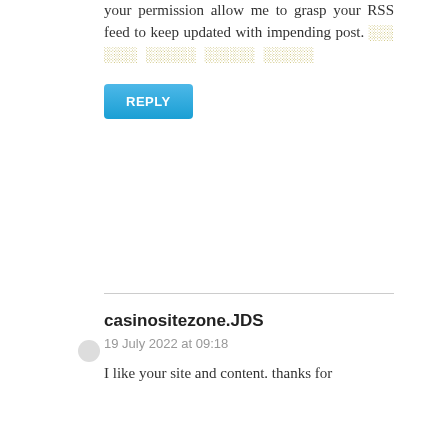your permission allow me to grasp your RSS feed to keep updated with impending post. ░░░░░░░ ░░░░░░ ░░░░░░ ░░░░░░
REPLY
casinositezone.JDS
19 July 2022 at 09:18
I like your site and content. thanks for